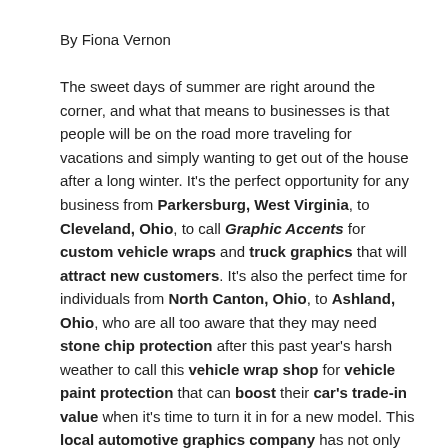By Fiona Vernon
The sweet days of summer are right around the corner, and what that means to businesses is that people will be on the road more traveling for vacations and simply wanting to get out of the house after a long winter. It's the perfect opportunity for any business from Parkersburg, West Virginia, to Cleveland, Ohio, to call Graphic Accents for custom vehicle wraps and truck graphics that will attract new customers. It's also the perfect time for individuals from North Canton, Ohio, to Ashland, Ohio, who are all too aware that they may need stone chip protection after this past year's harsh weather to call this vehicle wrap shop for vehicle paint protection that can boost their car's trade-in value when it's time to turn it in for a new model. This local automotive graphics company has not only been offering professional graphic design for 25 years, but they also provide the most cost-effective advertising with the installation of the best vehicle wraps from 3M and XPEL.